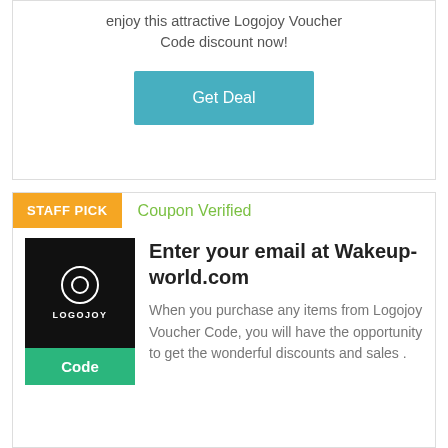enjoy this attractive Logojoy Voucher Code discount now!
Get Deal
STAFF PICK
Coupon Verified
[Figure (logo): Logojoy logo on black background with circle icon and text LOGOJOY]
Code
Enter your email at Wakeup-world.com
When you purchase any items from Logojoy Voucher Code, you will have the opportunity to get the wonderful discounts and sales .